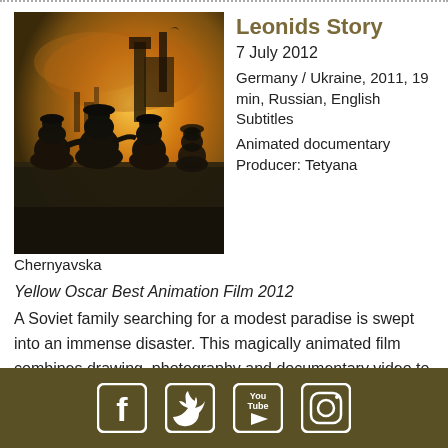[Figure (photo): Animated scene showing silhouettes of figures viewed from behind, looking toward an industrial skyline with an orange/yellow smoky sky and a large structure in the background — style of the film Leonid's Story.]
Leonids Story
7 July 2012
Germany / Ukraine, 2011, 19 min, Russian, English Subtitles
Animated documentary
Producer: Tetyana Chernyavska
Yellow Oscar Best Animation Film 2012
A Soviet family searching for a modest paradise is swept into an immense disaster. This magically animated film combines drawing, photography and documentary video to capture the surreal emotions of the too-real tragedy: Chernobyl 1986.
Social media icons: Facebook, Twitter, YouTube, Instagram